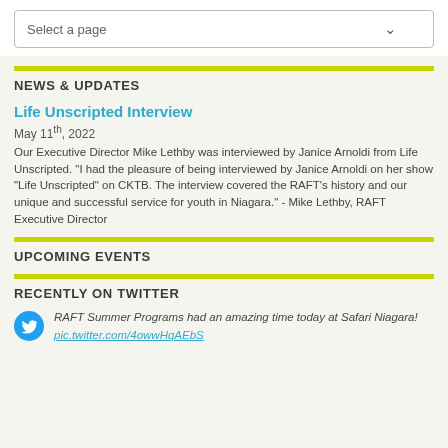Select a page
NEWS & UPDATES
Life Unscripted Interview
May 11th, 2022
Our Executive Director Mike Lethby was interviewed by Janice Arnoldi from Life Unscripted. "I had the pleasure of being interviewed by Janice Arnoldi on her show "Life Unscripted" on CKTB. The interview covered the RAFT's history and our unique and successful service for youth in Niagara." - Mike Lethby, RAFT Executive Director
UPCOMING EVENTS
RECENTLY ON TWITTER
RAFT Summer Programs had an amazing time today at Safari Niagara! pic.twitter.com/4owwHqAEbS